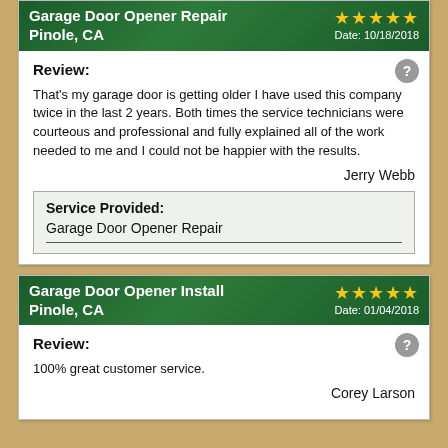Garage Door Opener Repair
Pinole, CA
★★★★★
Date: 10/18/2018
Review:

That's my garage door is getting older I have used this company twice in the last 2 years. Both times the service technicians were courteous and professional and fully explained all of the work needed to me and I could not be happier with the results.

Jerry Webb
| Service Provided: |
| --- |
| Garage Door Opener Repair |
Garage Door Opener Install
Pinole, CA
★★★★★
Date: 01/04/2018
Review:

100% great customer service.

Corey Larson